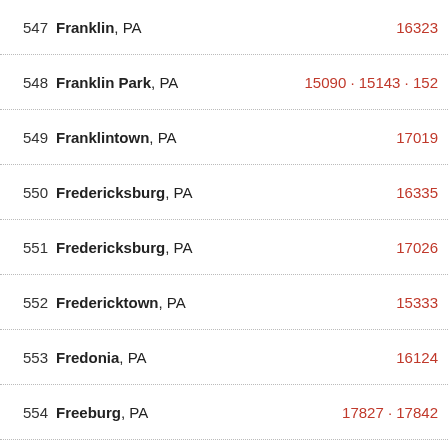| # | City | ZIP |
| --- | --- | --- |
| 547 | Franklin, PA | 16323 |
| 548 | Franklin Park, PA | 15090 · 15143 · 152… |
| 549 | Franklintown, PA | 17019 |
| 550 | Fredericksburg, PA | 16335 |
| 551 | Fredericksburg, PA | 17026 |
| 552 | Fredericktown, PA | 15333 |
| 553 | Fredonia, PA | 16124 |
| 554 | Freeburg, PA | 17827 · 17842 |
| 555 | Freedom, PA | 15042 · 15074 |
| 556 | Freeland, PA | 18224 |
| 557 | Freemansburg, PA | 18017 |